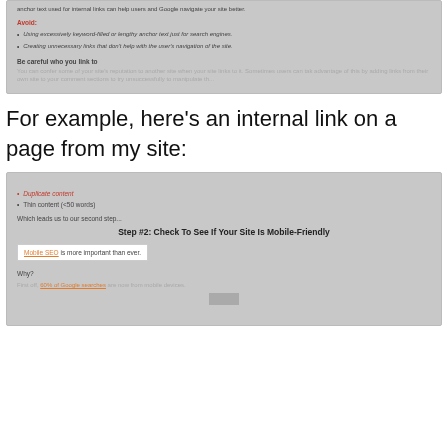[Figure (screenshot): Screenshot of a webpage showing 'Avoid:' label in red, two bullet points in italic about using keyword-filled anchor text and creating unnecessary links, followed by 'Be careful who you link to' heading and faded paragraph text.]
For example, here’s an internal link on a page from my site:
[Figure (screenshot): Screenshot of a webpage showing two bullet points (one orange italic about Duplicate content, one about Thin content <50 words), 'Which leads us to our second step...' text, bold heading 'Step #2: Check To See If Your Site Is Mobile-Friendly', a white box with 'Mobile SEO is more important than ever.' text (Mobile SEO in orange link style), 'Why?' paragraph, faded text 'First off, 60% of Google searches are now from mobile devices.' with orange link on '60% of Google searches', and a small gray image placeholder.]